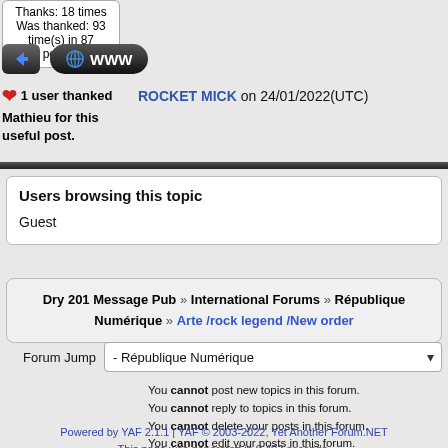Was thanked: 93 time(s) in 87 post(s)
[Figure (screenshot): Action buttons: back arrow icon button and WWW globe button]
❤ 1 user thanked Mathieu for this useful post. ROCKET MICK on 24/01/2022(UTC)
Users browsing this topic
Guest
Dry 201 Message Pub » International Forums » République Numérique » Arte /rock legend /New order
Forum Jump - République Numérique
You cannot post new topics in this forum. You cannot reply to topics in this forum. You cannot delete your posts in this forum. You cannot edit your posts in this forum. You cannot create polls in this forum. You cannot vote in polls in this forum.
Powered by YAF 2.1.1 | YAF © 2003-2022, Yet Another Forum.NET This page was generated in 0.493 seconds.